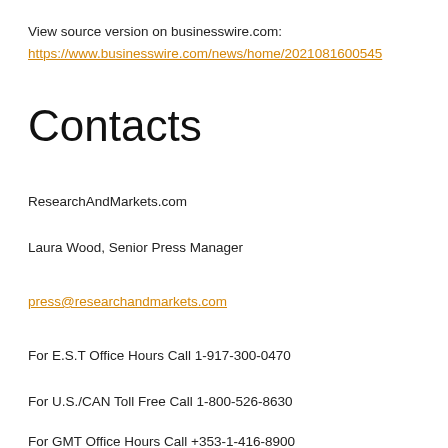View source version on businesswire.com:
https://www.businesswire.com/news/home/2021081600545
Contacts
ResearchAndMarkets.com
Laura Wood, Senior Press Manager
press@researchandmarkets.com
For E.S.T Office Hours Call 1-917-300-0470
For U.S./CAN Toll Free Call 1-800-526-8630
For GMT Office Hours Call +353-1-416-8900